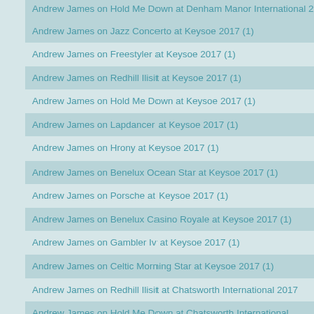Andrew James on Hold Me Down at Denham Manor International 2017 (1)
Andrew James on Jazz Concerto at Keysoe 2017 (1)
Andrew James on Freestyler at Keysoe 2017 (1)
Andrew James on Redhill Ilisit at Keysoe 2017 (1)
Andrew James on Hold Me Down at Keysoe 2017 (1)
Andrew James on Lapdancer at Keysoe 2017 (1)
Andrew James on Hrony at Keysoe 2017 (1)
Andrew James on Benelux Ocean Star at Keysoe 2017 (1)
Andrew James on Porsche at Keysoe 2017 (1)
Andrew James on Benelux Casino Royale at Keysoe 2017 (1)
Andrew James on Gambler Iv at Keysoe 2017 (1)
Andrew James on Celtic Morning Star at Keysoe 2017 (1)
Andrew James on Redhill Ilisit at Chatsworth International 2017
Andrew James on Hold Me Down at Chatsworth International 2017
Andrew James on Hrony at Rockingham International 2017
Andrew James on Porsche at Rockingham International 2017
Andrew James on Loriens High And Mighty at Rockingham International 2017
Andrew James on Freestyler at Rockingham International 2017